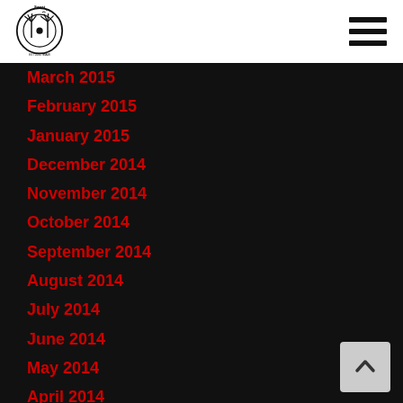[Figure (logo): Sweat Records logo — circular vinyl record with palm trees and text 'EST 2005, MIAMI']
March 2015
February 2015
January 2015
December 2014
November 2014
October 2014
September 2014
August 2014
July 2014
June 2014
May 2014
April 2014
March 2014
February 2014
January 2014